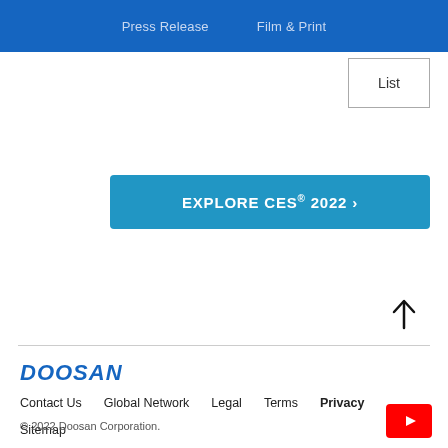Press Release   Film & Print
List
[Figure (other): EXPLORE CES® 2022 > button]
[Figure (other): Up arrow icon for back to top]
[Figure (logo): DOOSAN logo in blue italic bold text]
Contact Us   Global Network   Legal   Terms   Privacy   Sitemap
© 2022 Doosan Corporation.
[Figure (other): YouTube icon button in red]